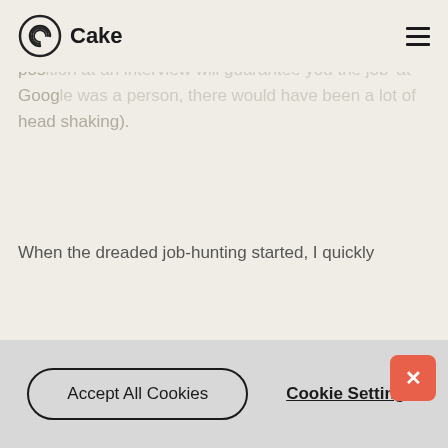[Figure (logo): Cake logo with spiral C icon and 'Cake' wordmark]
Googling the most ridiculous things such as 'what sitting position at an interview will guarantee you the job' at Google was a person, there would have been a lot of head shaking).
When the dreaded job-hunting started, I quickly
Cookie Settings
By clicking “Accept All Cookies”, you agree to the storing of cookies on your device to enhance site navigation, analyze site usage and assist in our marketing efforts. More info
Accept All Cookies
Cookie Settings